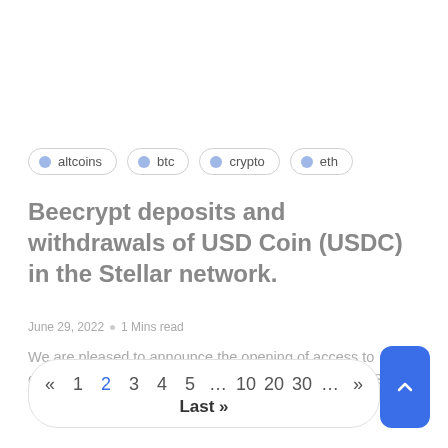altcoins
btc
crypto
eth
Beecrypt deposits and withdrawals of USD Coin (USDC) in the Stellar network.
June 29, 2022  •  1 Mins read
We are pleased to announce the opening of access to deposits and withdrawals of USD Coin (USDC) in the Stellar
« 1 2 3 4 5 … 10 20 30 … » Last»